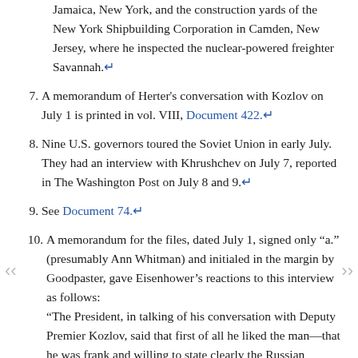(continued) Jamaica, New York, and the construction yards of the New York Shipbuilding Corporation in Camden, New Jersey, where he inspected the nuclear-powered freighter Savannah.↵
7. A memorandum of Herter's conversation with Kozlov on July 1 is printed in vol. VIII, Document 422.↵
8. Nine U.S. governors toured the Soviet Union in early July. They had an interview with Khrushchev on July 7, reported in The Washington Post on July 8 and 9.↵
9. See Document 74.↵
10. A memorandum for the files, dated July 1, signed only "a." (presumably Ann Whitman) and initialed in the margin by Goodpaster, gave Eisenhower's reactions to this interview as follows: "The President, in talking of his conversation with Deputy Premier Kozlov, said that first of all he liked the man—that he was frank and willing to state clearly the Russian positions. The President said what we have to do is to thaw out' the Russian defenses. About Berlin we say we will never have our rights there diminished. The Russians say this is an illogical